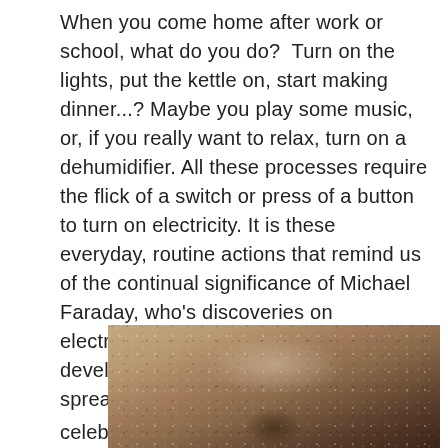When you come home after work or school, what do you do?  Turn on the lights, put the kettle on, start making dinner...? Maybe you play some music, or, if you really want to relax, turn on a dehumidifier. All these processes require the flick of a switch or press of a button to turn on electricity. It is these everyday, routine actions that remind us of the continual significance of Michael Faraday, who’s discoveries on electromagnetic induction enabled the development of electricity and its wide spread use across the world. Today we celebrate his 230th birthday, marking the date 22 September, 1791 when he was born.
[Figure (photo): Sepia-toned historical photograph, partially visible, showing what appears to be a portrait or figure in dark brown tones with speckled texture typical of aged photography.]